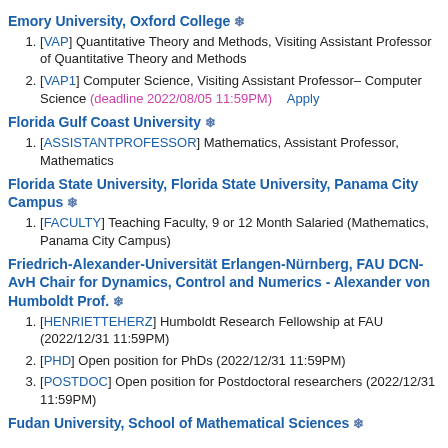Emory University, Oxford College ❄
[VAP] Quantitative Theory and Methods, Visiting Assistant Professor of Quantitative Theory and Methods
[VAP1] Computer Science, Visiting Assistant Professor– Computer Science (deadline 2022/08/05 11:59PM)   Apply
Florida Gulf Coast University ❄
[ASSISTANTPROFESSOR] Mathematics, Assistant Professor, Mathematics
Florida State University, Florida State University, Panama City Campus ❄
[FACULTY] Teaching Faculty, 9 or 12 Month Salaried (Mathematics, Panama City Campus)
Friedrich-Alexander-Universität Erlangen-Nürnberg, FAU DCN-AvH Chair for Dynamics, Control and Numerics - Alexander von Humboldt Prof. ❄
[HENRIETTEHERZ] Humboldt Research Fellowship at FAU (2022/12/31 11:59PM)
[PHD] Open position for PhDs (2022/12/31 11:59PM)
[POSTDOC] Open position for Postdoctoral researchers (2022/12/31 11:59PM)
Fudan University, School of Mathematical Sciences ❄